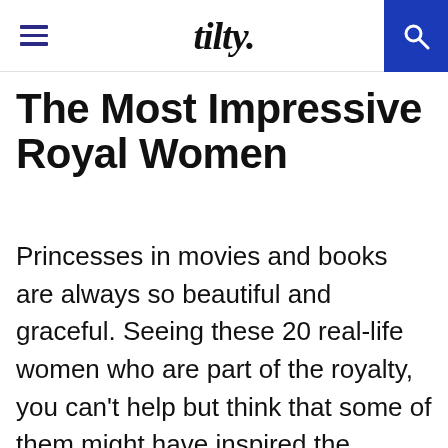tilty.
The Most Impressive Royal Women
Princesses in movies and books are always so beautiful and graceful. Seeing these 20 real-life women who are part of the royalty, you can't help but think that some of them might have inspired the princesses we see on the big screen and drawn on the pages of stories for children. These 20 real royal women prove the theory that princesses are